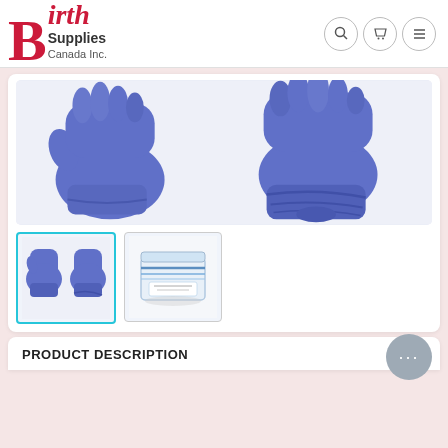[Figure (logo): Birth Supplies Canada Inc. logo with red B and black text]
[Figure (photo): Two blue medical/exam gloves laid flat on white background, left hand and right hand views]
[Figure (photo): Thumbnail: two blue gloves pair]
[Figure (photo): Thumbnail: box/carton of blue gloves]
PRODUCT DESCRIPTION